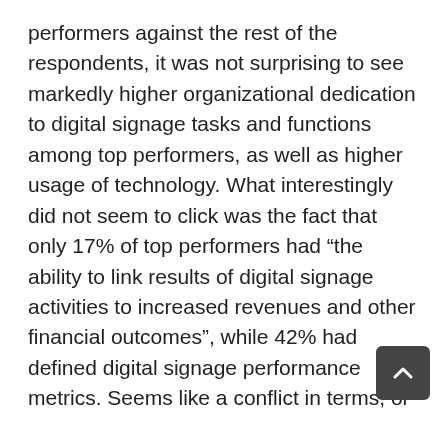performers against the rest of the respondents, it was not surprising to see markedly higher organizational dedication to digital signage tasks and functions among top performers, as well as higher usage of technology. What interestingly did not seem to click was the fact that only 17% of top performers had “the ability to link results of digital signage activities to increased revenues and other financial outcomes”, while 42% had defined digital signage performance metrics. Seems like a conflict in terms, or perhaps it makes sense given that many respondents were not measuring financial outcomes (e.g. non-retailers). Later, it is revealed that 67% of respondents plan to close that gap by working to link digital signage activities to revenue data